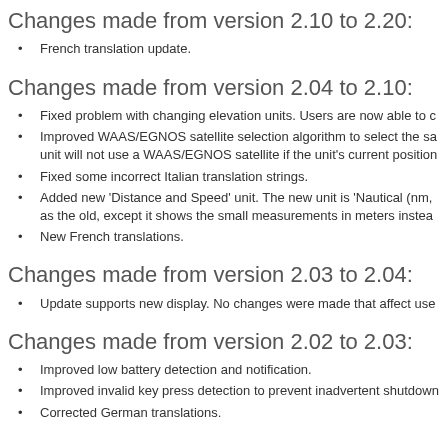Changes made from version 2.10 to 2.20:
French translation update.
Changes made from version 2.04 to 2.10:
Fixed problem with changing elevation units. Users are now able to c
Improved WAAS/EGNOS satellite selection algorithm to select the sa unit will not use a WAAS/EGNOS satellite if the unit's current position
Fixed some incorrect Italian translation strings.
Added new 'Distance and Speed' unit. The new unit is 'Nautical (nm, as the old, except it shows the small measurements in meters instea
New French translations.
Changes made from version 2.03 to 2.04:
Update supports new display. No changes were made that affect use
Changes made from version 2.02 to 2.03:
Improved low battery detection and notification.
Improved invalid key press detection to prevent inadvertent shutdown
Corrected German translations.